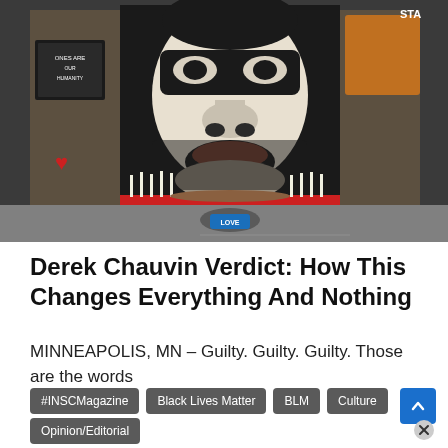[Figure (photo): Street memorial with large black and white mural of George Floyd's face painted on a wall. Candles, flowers, and offerings placed at the base. Street graffiti visible including 'stop' written on the ground. Colorful protest signs and artwork visible on surrounding walls.]
Derek Chauvin Verdict: How This Changes Everything And Nothing
MINNEAPOLIS, MN – Guilty. Guilty. Guilty. Those are the words
#INSCMagazine
Black Lives Matter
BLM
Culture
Opinion/Editorial